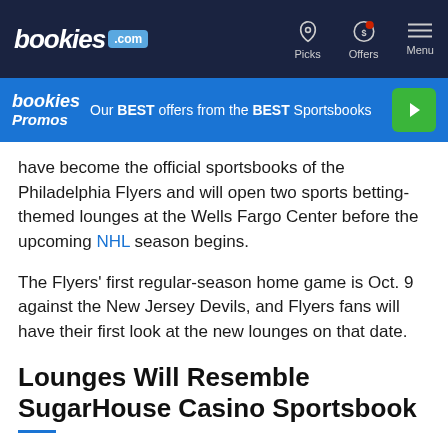bookies.com — Picks | Offers | Menu
[Figure (infographic): bookies Promos banner: 'Our BEST offers from the BEST Sportsbooks' with play button]
have become the official sportsbooks of the Philadelphia Flyers and will open two sports betting-themed lounges at the Wells Fargo Center before the upcoming NHL season begins.
The Flyers' first regular-season home game is Oct. 9 against the New Jersey Devils, and Flyers fans will have their first look at the new lounges on that date.
Lounges Will Resemble SugarHouse Casino Sportsbook
While the lounges won't feature betting kiosks, they will resemble the SugarHouse Casino sportsbook and...